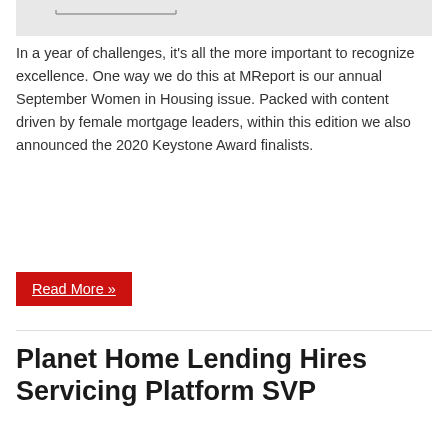[Figure (photo): Partial view of a horizontal bar or ruler graphic at the top of the page]
In a year of challenges, it's all the more important to recognize excellence. One way we do this at MReport is our annual September Women in Housing issue. Packed with content driven by female mortgage leaders, within this edition we also announced the 2020 Keystone Award finalists.
Read More »
Planet Home Lending Hires Servicing Platform SVP
February 28, 2020
[Figure (photo): Two people shaking hands against a blue-toned background]